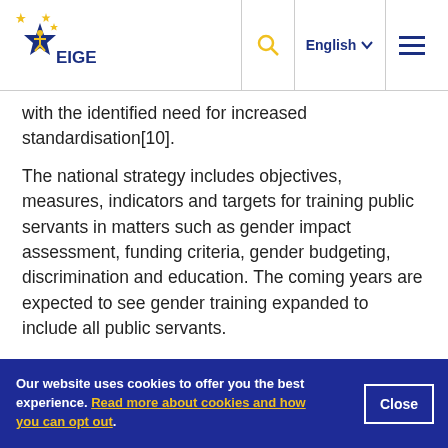EIGE logo / navigation bar with search, English language selector, and menu
with the identified need for increased standardisation[10].
The national strategy includes objectives, measures, indicators and targets for training public servants in matters such as gender impact assessment, funding criteria, gender budgeting, discrimination and education. The coming years are expected to see gender training expanded to include all public servants.
Our website uses cookies to offer you the best experience. Read more about cookies and how you can opt out.